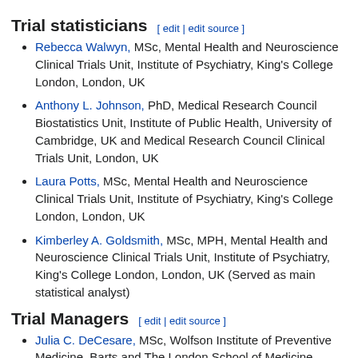Trial statisticians [ edit | edit source ]
Rebecca Walwyn, MSc, Mental Health and Neuroscience Clinical Trials Unit, Institute of Psychiatry, King's College London, London, UK
Anthony L. Johnson, PhD, Medical Research Council Biostatistics Unit, Institute of Public Health, University of Cambridge, UK and Medical Research Council Clinical Trials Unit, London, UK
Laura Potts, MSc, Mental Health and Neuroscience Clinical Trials Unit, Institute of Psychiatry, King's College London, London, UK
Kimberley A. Goldsmith, MSc, MPH, Mental Health and Neuroscience Clinical Trials Unit, Institute of Psychiatry, King's College London, London, UK (Served as main statistical analyst)
Trial Managers [ edit | edit source ]
Julia C. DeCesare, MSc, Wolfson Institute of Preventive Medicine, Barts and The London School of Medicine, Queen